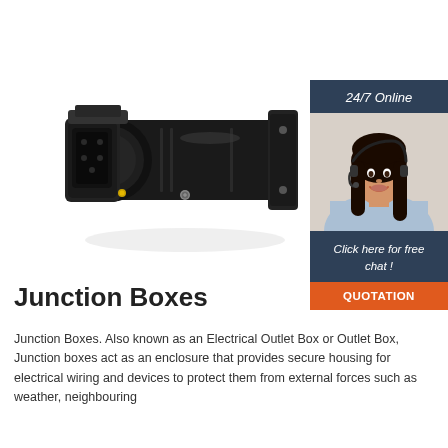[Figure (photo): Junction box / electrical outlet box product photo – black cylindrical connector/housing shown at an angle on white background]
[Figure (photo): 24/7 online customer service chat widget showing a smiling woman with a headset and dark hair wearing a light blue top]
Junction Boxes
Junction Boxes. Also known as an Electrical Outlet Box or Outlet Box, Junction boxes act as an enclosure that provides secure housing for electrical wiring and devices to protect them from external forces such as weather, neighbouring